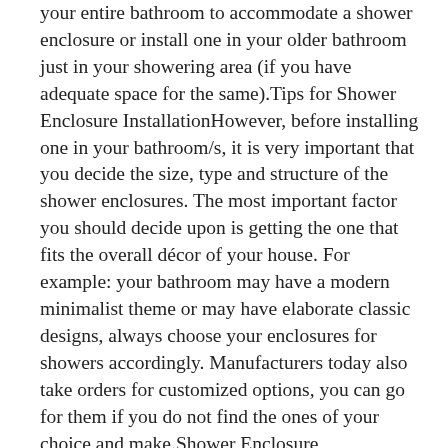your entire bathroom to accommodate a shower enclosure or install one in your older bathroom just in your showering area (if you have adequate space for the same).Tips for Shower Enclosure InstallationHowever, before installing one in your bathroom/s, it is very important that you decide the size, type and structure of the shower enclosures. The most important factor you should decide upon is getting the one that fits the overall décor of your house. For example: your bathroom may have a modern minimalist theme or may have elaborate classic designs, always choose your enclosures for showers accordingly. Manufacturers today also take orders for customized options, you can go for them if you do not find the ones of your choice and make.Shower Enclosure MaintenanceIf you are worried about maintenance of these shower enclosures, then relax,nanotechnology has made things as easy as breeze. In fact, for maintaining these you just have to use protective coatings that protect these enclosures from various external damages and also maintain their sheen even after many years of use. Some of the protective coatings are so effective that you do not have to use detergents or